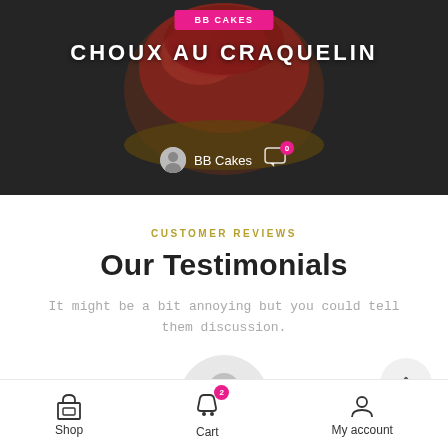[Figure (screenshot): Hero image of a red velvet choux au craquelin pastry on dark background, with BB Cakes pink button at top, title 'CHOUX AU CRAQUELIN' in white, and BB Cakes author avatar with comment icon showing 0 comments]
CUSTOMER REVIEWS
Our Testimonials
It might be a bit annoying but you could tell them discussion.
[Figure (illustration): Circular gray avatar placeholder showing silhouette of a person]
[Figure (illustration): Circular scroll-to-top button with upward chevron arrow]
Shop  Cart  My account